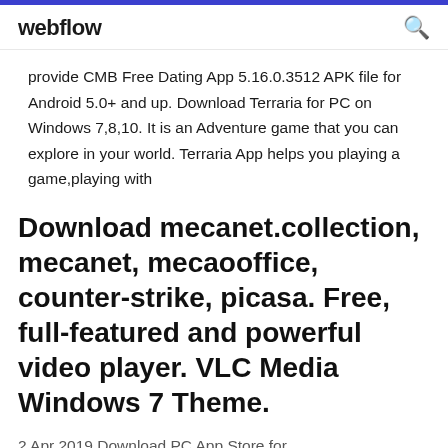webflow
provide CMB Free Dating App 5.16.0.3512 APK file for Android 5.0+ and up. Download Terraria for PC on Windows 7,8,10. It is an Adventure game that you can explore in your world. Terraria App helps you playing a game,playing with
Download mecanet.collection, mecanet, mecaooffice, counter-strike, picasa. Free, full-featured and powerful video player. VLC Media Windows 7 Theme.
2 Apr 2019 Download PC App Store for